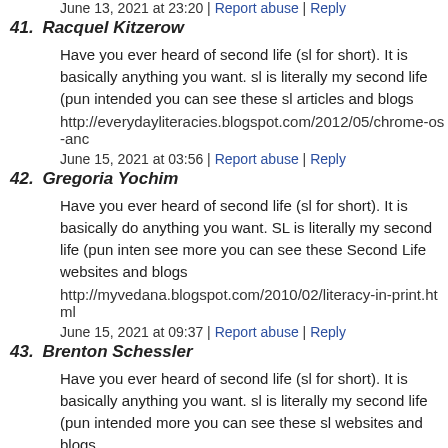June 13, 2021 at 23:20 | Report abuse | Reply
41. Racquel Kitzerow
Have you ever heard of second life (sl for short). It is basically anything you want. sl is literally my second life (pun intended you can see these sl articles and blogs
http://everydayliteracies.blogspot.com/2012/05/chrome-os-anc
June 15, 2021 at 03:56 | Report abuse | Reply
42. Gregoria Yochim
Have you ever heard of second life (sl for short). It is basically do anything you want. SL is literally my second life (pun inten see more you can see these Second Life websites and blogs
http://myvedana.blogspot.com/2010/02/literacy-in-print.html
June 15, 2021 at 09:37 | Report abuse | Reply
43. Brenton Schessler
Have you ever heard of second life (sl for short). It is basically anything you want. sl is literally my second life (pun intended more you can see these sl websites and blogs
http://lostbiro.com/blog/?page_i&paged=57